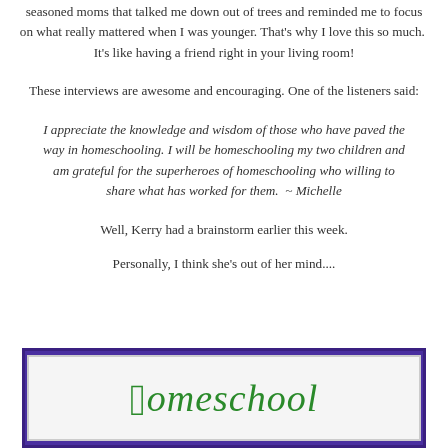seasoned moms that talked me down out of trees and reminded me to focus on what really mattered when I was younger. That's why I love this so much.  It's like having a friend right in your living room!
These interviews are awesome and encouraging. One of the listeners said:
I appreciate the knowledge and wisdom of those who have paved the way in homeschooling. I will be homeschooling my two children and am grateful for the superheroes of homeschooling who willing to share what has worked for them.  ~ Michelle
Well, Kerry had a brainstorm earlier this week.
Personally, I think she's out of her mind....
[Figure (illustration): A framed image with a dark purple/blue border containing a lighter inner frame on a gray background, with decorative italic script text reading 'Homeschool' in green cursive font.]